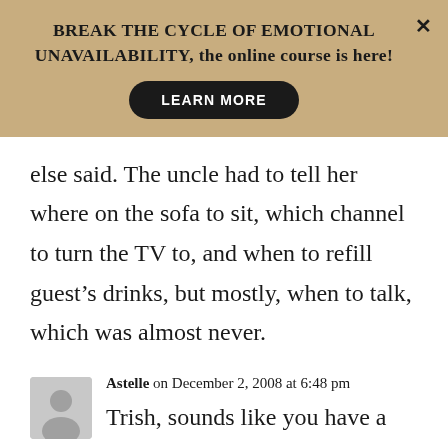[Figure (infographic): Banner advertisement with tan/khaki background. Bold text: 'BREAK THE CYCLE OF EMOTIONAL UNAVAILABILITY, the online course is here!' with a black 'LEARN MORE' button and an X close button.]
else said. The uncle had to tell her where on the sofa to sit, which channel to turn the TV to, and when to refill guest’s drinks, but mostly, when to talk, which was almost never.
Astelle on December 2, 2008 at 6:48 pm
Trish, sounds like you have a